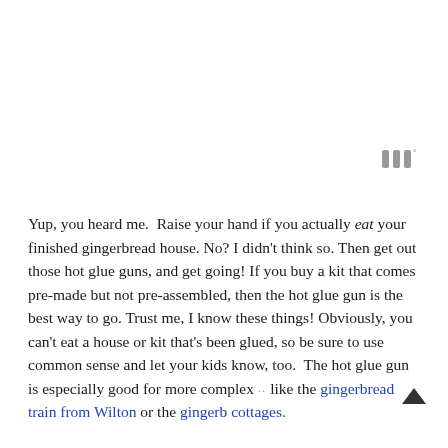[Figure (other): Small gray icon resembling three vertical bars with a degree symbol, positioned in upper right area]
Yup, you heard me.  Raise your hand if you actually eat your finished gingerbread house. No? I didn't think so. Then get out those hot glue guns, and get going! If you buy a kit that comes pre-made but not pre-assembled, then the hot glue gun is the best way to go. Trust me, I know these things! Obviously, you can't eat a house or kit that's been glued, so be sure to use common sense and let your kids know, too.  The hot glue gun is especially good for more complex like the gingerbread train from Wilton or the gingerb cottages.